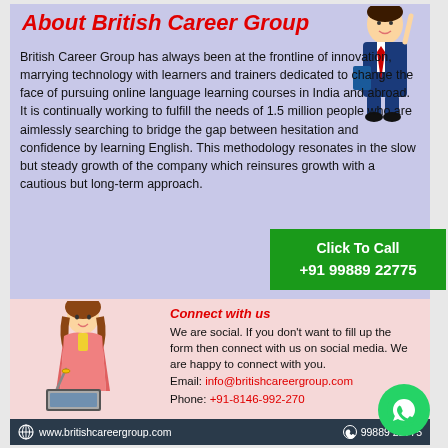About British Career Group
British Career Group has always been at the frontline of innovation, marrying technology with learners and trainers dedicated to change the face of pursuing online language learning courses in India and abroad. It is continually working to fulfill the needs of 1.5 million people who are aimlessly searching to bridge the gap between hesitation and confidence by learning English. This methodology resonates in the slow but steady growth of the company which reinsures growth with a cautious but long-term approach.
[Figure (illustration): Cartoon businessman in blue suit with tie, holding a book, pointing upward with one finger]
[Figure (infographic): Green Click To Call box with phone number +91 99889 22775]
Connect with us
We are social. If you don't want to fill up the form then connect with us on social media. We are happy to connect with you.
Email: info@britishcareergroup.com
Phone: +91-8146-992-270
[Figure (illustration): Cartoon businesswoman with laptop, holding a pen]
[Figure (logo): WhatsApp green circle icon]
www.britishcareergroup.com    99889 22775